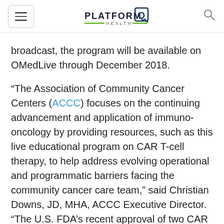PlatformQ Health (logo and navigation)
broadcast, the program will be available on OMedLive through December 2018.
“The Association of Community Cancer Centers (ACCC) focuses on the continuing advancement and application of immuno-oncology by providing resources, such as this live educational program on CAR T-cell therapy, to help address evolving operational and programmatic barriers facing the community cancer care team,” said Christian Downs, JD, MHA, ACCC Executive Director. “The U.S. FDA’s recent approval of two CAR T-cell therapies further supports immunotherapy as the fifth pillar of cancer treatment. We are thrilled to partner with PlatformQ Health, and its channel OMedLive, to provide this learning event to help educate the ACCC membership and greater